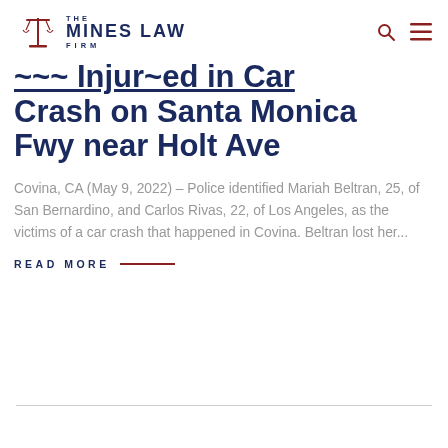THE MINES LAW FIRM
... Injured in Car Crash on Santa Monica Fwy near Holt Ave
Covina, CA (May 9, 2022) – Police identified Mariah Beltran, 25, of San Bernardino, and Carlos Rivas, 22, of Los Angeles, as the victims of a car crash that happened in Covina. Beltran lost her...
READ MORE